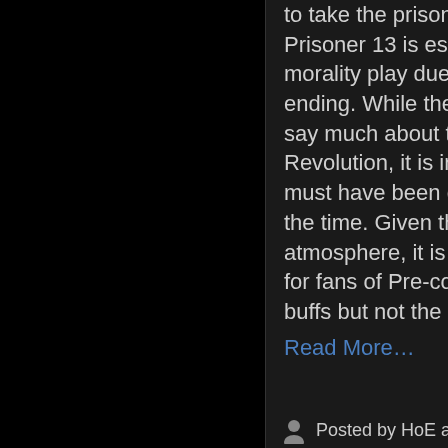to take the prisoner's place, Prisoner 13 is essentially a morality play due to the twist ending. While the film does not say much about the Mexican Revolution, it is interesting and must have been quite daring for the time. Given the grim atmosphere, it is recommended for fans of Pre-code film and film buffs but not the average viewer. Read More…
Posted by HoE at